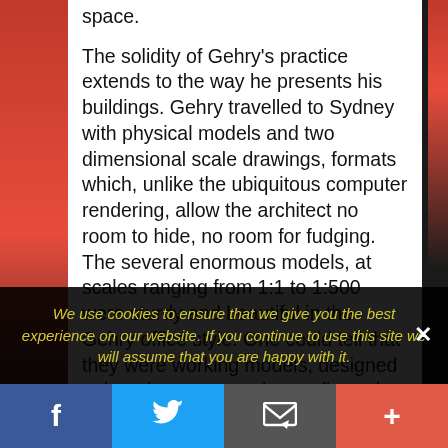space.
The solidity of Gehry's practice extends to the way he presents his buildings. Gehry travelled to Sydney with physical models and two dimensional scale drawings, formats which, unlike the ubiquitous computer rendering, allow the architect no room to hide, no room for fudging. The several enormous models, at scales ranging from 1:1 to 1:500 were sturdy and beautiful in the Gehry office style. One could tell that they were working models, designed to be taken apart and reconfigured as necessary. Gehry emphasizes the importance of brain-eye-hand coordination for architects and though it may sound
We use cookies to ensure that we give you the best experience on our website. If you continue to use this site we will assume that you are happy with it.